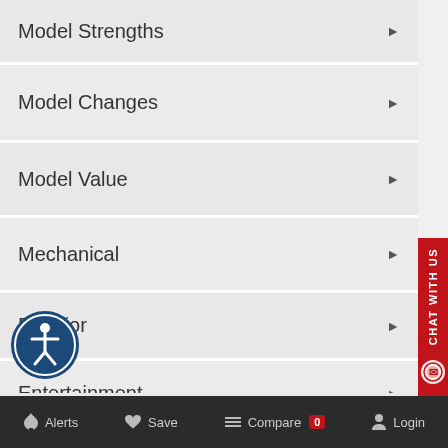Model Strengths
Model Changes
Model Value
Mechanical
Exterior
Entertainment
Interior
Alerts  Save  Compare 0  Login